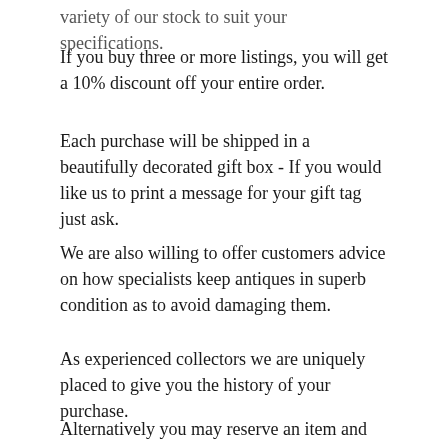variety of our stock to suit your specifications.
If you buy three or more listings, you will get a 10% discount off your entire order.
Each purchase will be shipped in a beautifully decorated gift box - If you would like us to print a message for your gift tag just ask.
We are also willing to offer customers advice on how specialists keep antiques in superb condition as to avoid damaging them.
As experienced collectors we are uniquely placed to give you the history of your purchase.
Alternatively you may reserve an item and send a check / cheque to us.